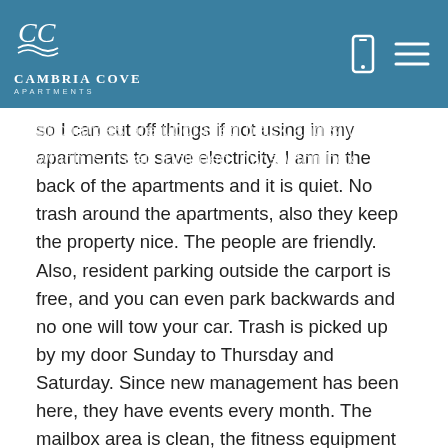[Figure (logo): Cambria Cove Apartments logo with CC emblem in white on teal header, with phone and menu icons]
Also, maintenance does not take long to fix things in my apt. I love everything about my apt, plus the washer and dryer. Also, I like that I live downstairs. Also, my kitchen appliances are upgraded black and silver in which is great. Included, my switch box so I can cut off things if not using in my apartments to save electricity. I am in the back of the apartments and it is quiet. No trash around the apartments, also they keep the property nice. The people are friendly. Also, resident parking outside the carport is free, and you can even park backwards and no one will tow your car. Trash is picked up by my door Sunday to Thursday and Saturday. Since new management has been here, they have events every month. The mailbox area is clean, the fitness equipment room, and the computer is nice. There are added things you have to pay for like a video doorbell, remote gates but one of the amenities that give you access to the